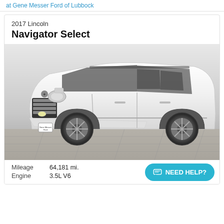at Gene Messer Ford of Lubbock
2017 Lincoln
Navigator Select
[Figure (photo): White 2017 Lincoln Navigator Select SUV photographed in a dealership lot, front three-quarter view, with chrome grille and alloy wheels visible.]
Mileage   64,181 mi.
Engine   3.5L V6